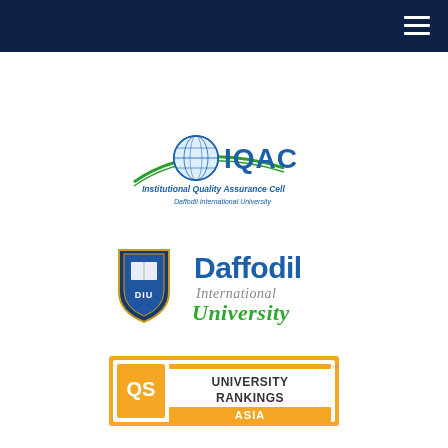[Figure (logo): Dark navy blue header bar with hamburger menu icon (three horizontal lines) in top-right corner]
[Figure (logo): IQAC - Institutional Quality Assurance Cell, Daffodil International University logo. Blue globe with green swoosh, blue text IQAC, subtitle text below.]
[Figure (logo): Daffodil International University logo. Shield/crest emblem with DIU text on left, Daffodil International University text in blue and green on right.]
[Figure (logo): QS University Rankings Asia logo. Orange and white rectangular badge with QS square mark and text UNIVERSITY RANKINGS ASIA.]